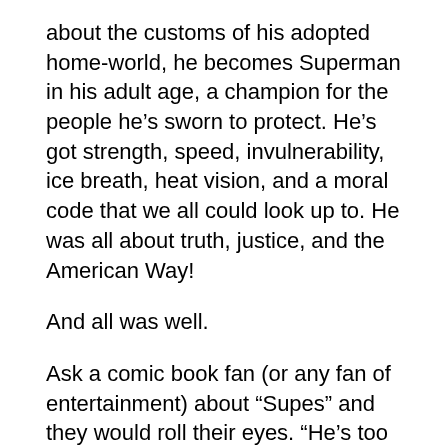about the customs of his adopted home-world, he becomes Superman in his adult age, a champion for the people he’s sworn to protect. He’s got strength, speed, invulnerability, ice breath, heat vision, and a moral code that we all could look up to. He was all about truth, justice, and the American Way!
And all was well.
Ask a comic book fan (or any fan of entertainment) about “Supes” and they would roll their eyes. “He’s too goody-goody,” I would hear some say. “He doesn’t get hurt,” others would chime in.
The latter isn’t quite true, because classically Superman was vulnerable to kryptonite as well as magic, and this doesn’t include the limitations lead inflicts on his X-ray vision (or a red sun on his powers wholesale). You could argue that Superman’s popularity came with the public’s